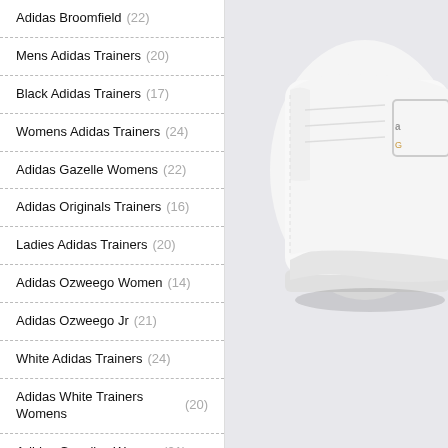Adidas Broomfield (22)
Mens Adidas Trainers (20)
Black Adidas Trainers (17)
Womens Adidas Trainers (24)
Adidas Gazelle Womens (22)
Adidas Originals Trainers (16)
Ladies Adidas Trainers (20)
Adidas Ozweego Women (14)
Adidas Ozweego Jr (21)
White Adidas Trainers (24)
Adidas White Trainers Womens (20)
Adidas Gazelles Women (21)
Adidas Shoes For Running (17)
Adidas Golf Shoes (25)
Adidas Ozweego Women'S (17)
Adidas Gazelles Women'S (22)
[Figure (photo): White Adidas sneaker/trainer shoe photographed from the side against a light grey background, partial view showing the heel and sole area with partial Adidas logo visible.]